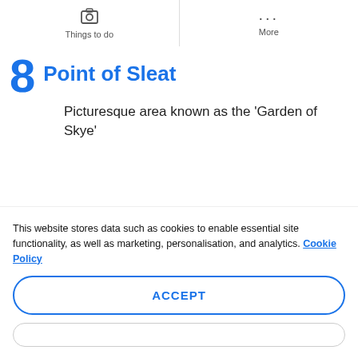Things to do | More
8 Point of Sleat — Picturesque area known as the 'Garden of Skye'
[Figure (other): Loading spinner arc visible at bottom of content area]
This website stores data such as cookies to enable essential site functionality, as well as marketing, personalisation, and analytics. Cookie Policy
ACCEPT